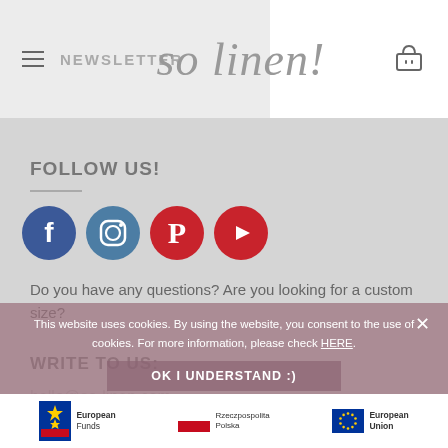NEWSLETTER | so linen!
FOLLOW US!
[Figure (illustration): Social media icons: Facebook (blue circle), Instagram (blue circle), Pinterest (red circle), YouTube (red circle)]
Do you have any questions? Are you looking for a custom size?
WRITE TO US:
hello@so-linen.com
This website uses cookies. By using the website, you consent to the use of cookies. For more information, please check HERE.
OK I UNDERSTAND :)
[Figure (logo): European Funds logo, Republic of Poland flag logo, European Union logo]
European Funds
European Union